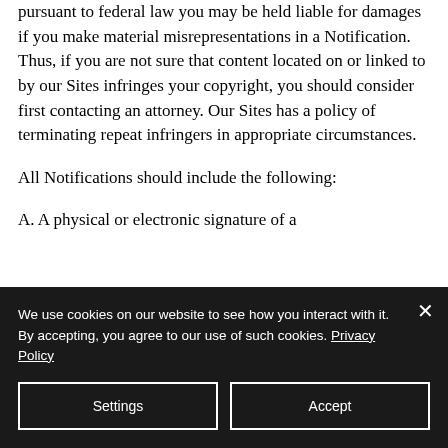pursuant to federal law you may be held liable for damages if you make material misrepresentations in a Notification. Thus, if you are not sure that content located on or linked to by our Sites infringes your copyright, you should consider first contacting an attorney. Our Sites has a policy of terminating repeat infringers in appropriate circumstances.
All Notifications should include the following:
A. A physical or electronic signature of a
We use cookies on our website to see how you interact with it. By accepting, you agree to our use of such cookies. Privacy Policy